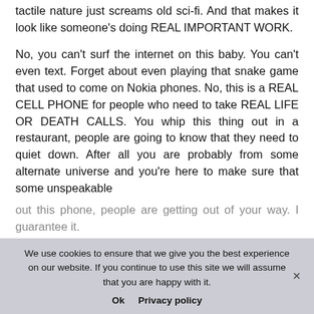tactile nature just screams old sci-fi. And that makes it look like someone's doing REAL IMPORTANT WORK.
No, you can't surf the internet on this baby. You can't even text. Forget about even playing that snake game that used to come on Nokia phones. No, this is a REAL CELL PHONE for people who need to take REAL LIFE OR DEATH CALLS. You whip this thing out in a restaurant, people are going to know that they need to quiet down. After all you are probably from some alternate universe and you're here to make sure that some unspeakable
out this phone, people are getting out of your way. I guarantee it.
We use cookies to ensure that we give you the best experience on our website. If you continue to use this site we will assume that you are happy with it.